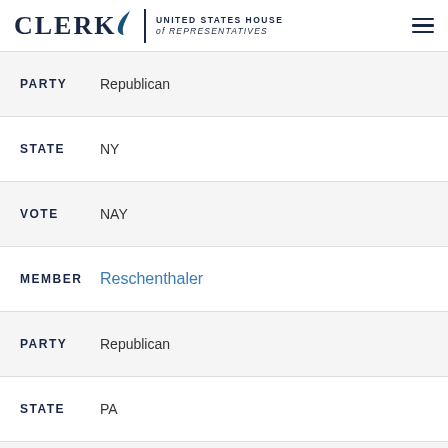CLERK | UNITED STATES HOUSE of REPRESENTATIVES
PARTY Republican
STATE NY
VOTE NAY
MEMBER Reschenthaler
PARTY Republican
STATE PA
VOTE NOT VOTING
MEMBER Rice (NY)